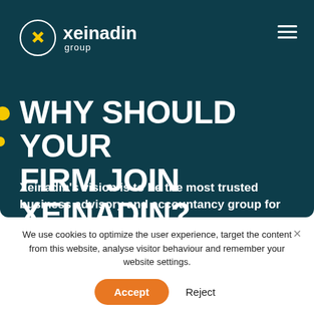[Figure (logo): Xeinadin Group logo with circular icon and text 'xeinadin group' in white on dark teal background]
WHY SHOULD YOUR FIRM JOIN XEINADIN?
Xeinadin's vision is to be the most trusted business advisory and accountancy group for
We use cookies to optimize the user experience, target the content from this website, analyse visitor behaviour and remember your website settings.
Accept    Reject